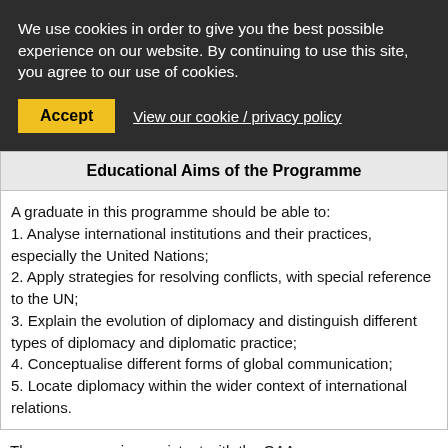We use cookies in order to give you the best possible experience on our website. By continuing to use this site, you agree to our use of cookies.
Accept
View our cookie / privacy policy
Educational Aims of the Programme
A graduate in this programme should be able to:
1. Analyse international institutions and their practices, especially the United Nations;
2. Apply strategies for resolving conflicts, with special reference to the UN;
3. Explain the evolution of diplomacy and distinguish different types of diplomacy and diplomatic practice;
4. Conceptualise different forms of global communication;
5. Locate diplomacy within the wider context of international relations.
The programme is consistent with the QAA